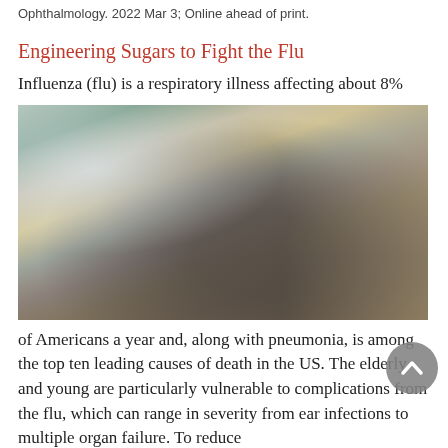Ophthalmology. 2022 Mar 3; Online ahead of print.
Engineering Sugars to Fight the Flu
Influenza (flu) is a respiratory illness affecting about 8%
[Figure (photo): A woman sitting on a grey sofa wrapped in a blanket, coughing into her fist, appearing ill with flu symptoms. Indoor setting with a window, plants, and curtains in the background.]
of Americans a year and, along with pneumonia, is among the top ten leading causes of death in the US. The elderly and young are particularly vulnerable to complications from the flu, which can range in severity from ear infections to multiple organ failure. To reduce